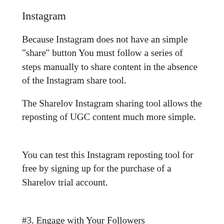Instagram
Because Instagram does not have an simple "share" button You must follow a series of steps manually to share content in the absence of the Instagram share tool.
The Sharelov Instagram sharing tool allows the reposting of UGC content much more simple.
You can test this Instagram reposting tool for free by signing up for the purchase of a Sharelov trial account.
#3. Engage with Your Followers